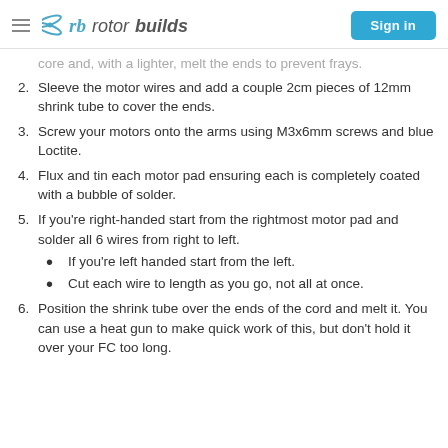rotorbuilds — Sign in
core and, with a lighter, melt the ends to prevent frays.
2. Sleeve the motor wires and add a couple 2cm pieces of 12mm shrink tube to cover the ends.
3. Screw your motors onto the arms using M3x6mm screws and blue Loctite.
4. Flux and tin each motor pad ensuring each is completely coated with a bubble of solder.
5. If you're right-handed start from the rightmost motor pad and solder all 6 wires from right to left.
If you're left handed start from the left.
Cut each wire to length as you go, not all at once.
6. Position the shrink tube over the ends of the cord and melt it. You can use a heat gun to make quick work of this, but don't hold it over your FC too long.